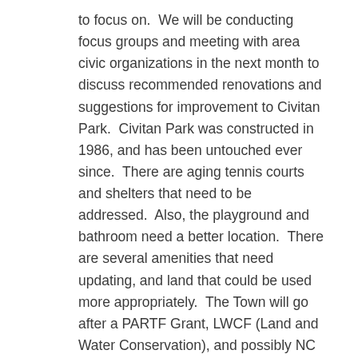to focus on.  We will be conducting focus groups and meeting with area civic organizations in the next month to discuss recommended renovations and suggestions for improvement to Civitan Park.  Civitan Park was constructed in 1986, and has been untouched ever since.  There are aging tennis courts and shelters that need to be addressed.  Also, the playground and bathroom need a better location.  There are several amenities that need updating, and land that could be used more appropriately.  The Town will go after a PARTF Grant, LWCF (Land and Water Conservation), and possibly NC Trails to help with funding.  We will hold a General Public Input Session on February 10 from 5:30-7:00p.m. at Town Hall (134 E. Mountain Street).  We will also launch an online survey for the community to participate in as well.
We are excited to announce that our Movie in the Park, Summer Series will return beginning on March 27 at Harmon Park.  We will kick- off the event during school spring break week and will be showing Despicable Me 2 on Friday, March 27.  This is a great FREE, family event for the community to enjoy.  Kernersville Parks and Recreation is currently looking for main sponsors for March, May, June, and July.  Please